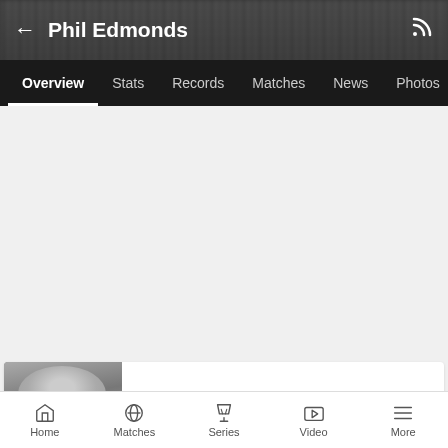Phil Edmonds
Overview  Stats  Records  Matches  News  Photos
[Figure (photo): Blurred crowd background image behind player name header]
[Figure (photo): Black and white photo of Phil Edmonds (head/face partially visible)]
Explore Statsguru Analysis
Home  Matches  Series  Video  More